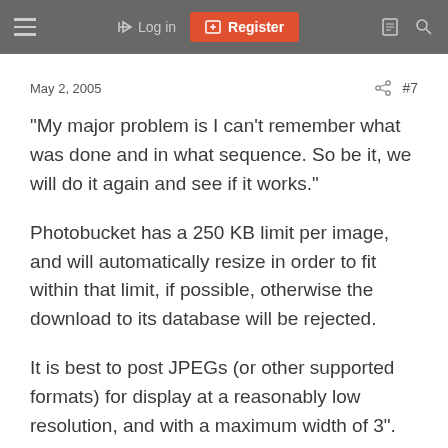Log in | Register
May 2, 2005  #7
"My major problem is I can't remember what was done and in what sequence. So be it, we will do it again and see if it works."
Photobucket has a 250 KB limit per image, and will automatically resize in order to fit within that limit, if possible, otherwise the download to its database will be rejected.
It is best to post JPEGs (or other supported formats) for display at a reasonably low resolution, and with a maximum width of 3".
Photoshop is usually the tool of choice for preparations